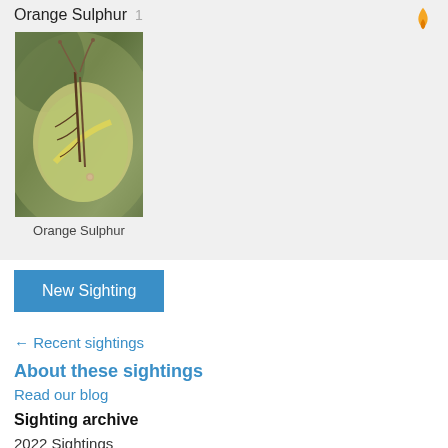Orange Sulphur 1
[Figure (photo): Close-up photograph of an Orange Sulphur butterfly perched on a leaf, showing the underside of its wings with brown and green tones]
Orange Sulphur
New Sighting
← Recent sightings
About these sightings
Read our blog
Sighting archive
2022 Sightings
Jan  1  Jul  235
Feb  11  Aug  161